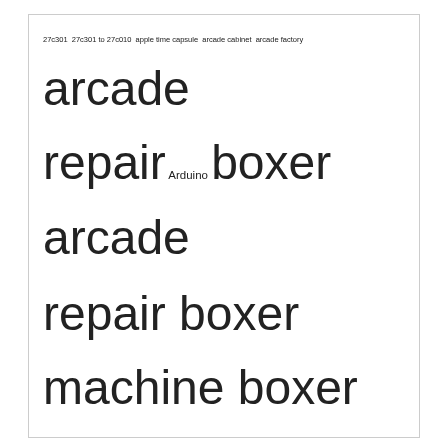[Figure (infographic): Tag cloud containing words at varying font sizes representing categories or topics. Includes: 27c301, 27c301 to 27c010, apple time capsule, arcade cabinet, arcade factory, arcade repair (large), Arduino, boxer arcade repair (large), boxer machine (large), boxer machine repair (large), Cards Against Humanity, Coin Acceptor, coney island arcade (large), crt focus, fake cartridges, fakeds, fakegba, fake pokemon, game boy, hidden toronto (medium-large), Horse Crap, Roulette, identification chart, identifying fakeds, identifying fakegba, Ink Saver, MAME, monitor fix, n64, pacman, PHP, Poop, punchball machine (very large), Recca, reproductions, repros, security bits, security screws, Server to Server File Transfer, simpsons bowling, Test Post (medium-large), time capsule repair, ttc, Universal Game Cases, urban exploration (medium-large), Utility Scripts]